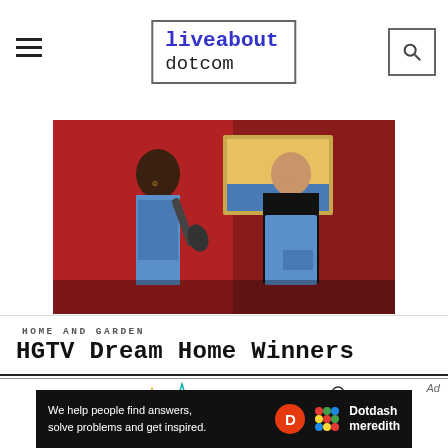liveabout dotcom
[Figure (photo): Two women wearing blue aprons in a decorated room with paintings on red walls; one holds a microphone toward the other who is smiling]
HOME AND GARDEN
HGTV Dream Home Winners
[Figure (illustration): Winter Olympics themed illustration with colorful sparkle stars and a ski jumper line drawing on white background]
Ad
[Figure (infographic): Dotdash Meredith ad banner: 'We help people find answers, solve problems and get inspired.' with orange D circle logo and colorful dots Dotdash Meredith logo]